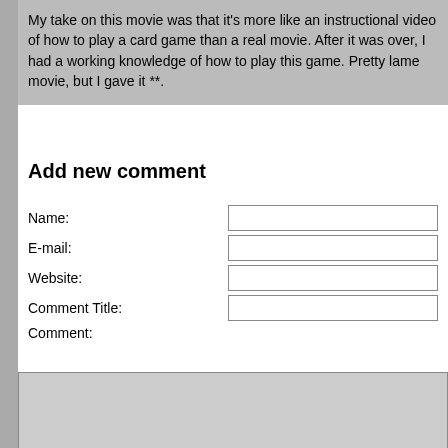My take on this movie was that it's more like an instructional video of how to play a card game than a real movie. After it was over, I had a working knowledge of how to play this game. Pretty lame movie, but I gave it **.
Add new comment
Name:
E-mail:
Website:
Comment Title:
Comment: